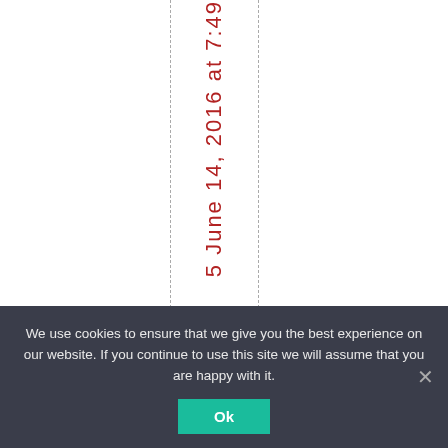5 June 14, 2016 at 7:49
We use cookies to ensure that we give you the best experience on our website. If you continue to use this site we will assume that you are happy with it.
Ok